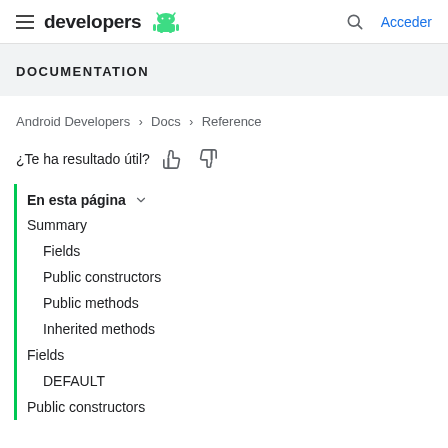developers [Android logo] | Acceder
DOCUMENTATION
Android Developers > Docs > Reference
¿Te ha resultado útil?
En esta página
Summary
Fields
Public constructors
Public methods
Inherited methods
Fields
DEFAULT
Public constructors